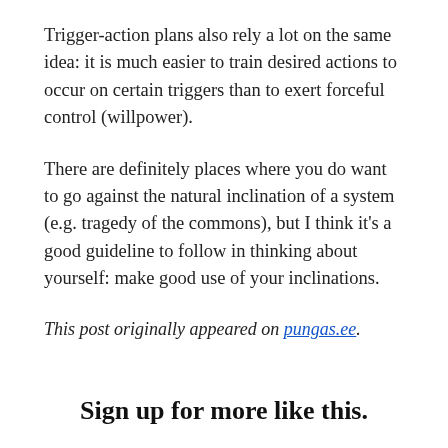Trigger-action plans also rely a lot on the same idea: it is much easier to train desired actions to occur on certain triggers than to exert forceful control (willpower).
There are definitely places where you do want to go against the natural inclination of a system (e.g. tragedy of the commons), but I think it’s a good guideline to follow in thinking about yourself: make good use of your inclinations.
This post originally appeared on pungas.ee.
Sign up for more like this.